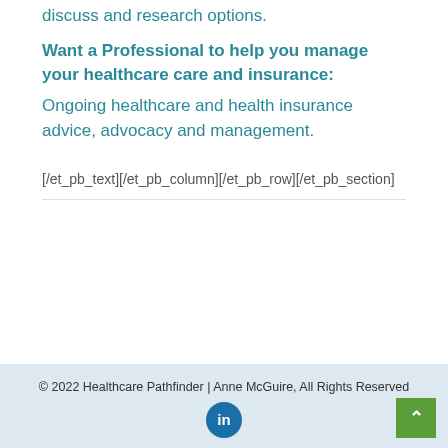Professional Insurance Consulting helps to discuss and research options.
Want a Professional to help you manage your healthcare care and insurance:
Ongoing healthcare and health insurance advice, advocacy and management.
[/et_pb_text][/et_pb_column][/et_pb_row][/et_pb_section]
© 2022 Healthcare Pathfinder | Anne McGuire, All Rights Reserved